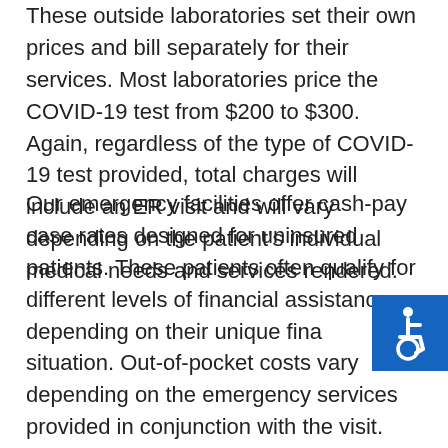These outside laboratories set their own prices and bill separately for their services. Most laboratories price the COVID-19 test from $200 to $300. Again, regardless of the type of COVID-19 test provided, total charges will include an ER visit and will vary depending on the patient's individual medical needs and services rendered.
Our emergency facilities offer cash-pay case rates designed for uninsured patients. These patients often qualify for different levels of financial assistance depending on their unique financial situation. Out-of-pocket costs vary depending on the emergency services provided in conjunction with the visit. Most uninsured patients presenting for COVID-19 testing and treatment should expect to pay a few hundred dollars after financial assistance has been applied. As always, we offer full disclosure of individualized out-of-pocket costs based on the emergency services provided during your visit.
[Figure (other): Accessibility icon — wheelchair symbol in white on a blue square background]